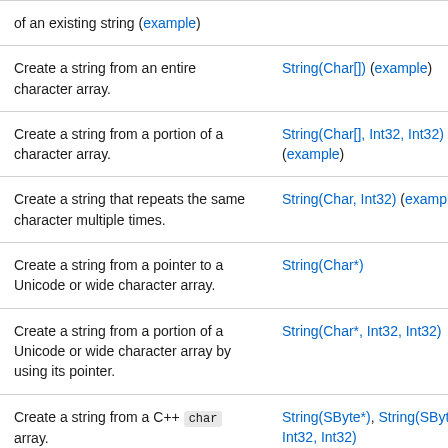| (partial — top cut off) of an existing string (example) |  |
| Create a string from an entire character array. | String(Char[]) (example) |
| Create a string from a portion of a character array. | String(Char[], Int32, Int32) (example) |
| Create a string that repeats the same character multiple times. | String(Char, Int32) (example) |
| Create a string from a pointer to a Unicode or wide character array. | String(Char*) |
| Create a string from a portion of a Unicode or wide character array by using its pointer. | String(Char*, Int32, Int32) |
| Create a string from a C++ char array. | String(SByte*), String(SByte*, Int32, Int32) |